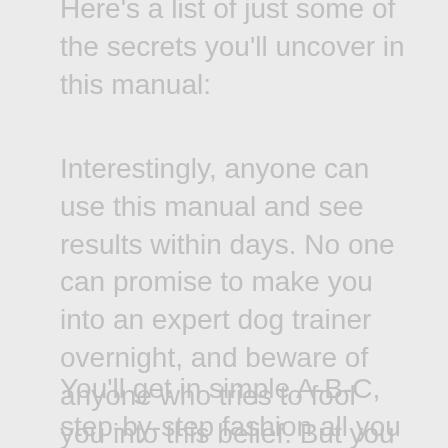Here's a list of just some of the secrets you'll uncover in this manual:
Interestingly, anyone can use this manual and see results within days. No one can promise to make you into an expert dog trainer overnight, and beware of anyone who tries to fool you into this belief. But you don't have to be an expert to get fast results using the proven tips tricks and shortcuts I show you.
You'll get in simple A-B-C, step-by-step fashion all you need to know to get the same results that placed my services in high